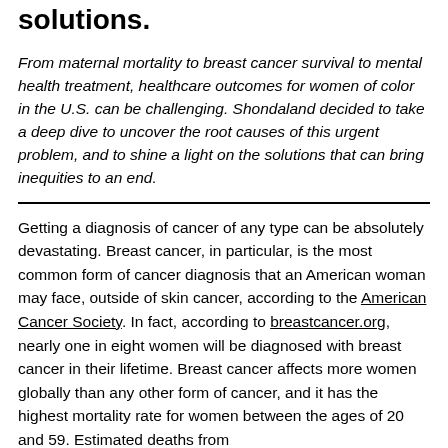solutions.
From maternal mortality to breast cancer survival to mental health treatment, healthcare outcomes for women of color in the U.S. can be challenging. Shondaland decided to take a deep dive to uncover the root causes of this urgent problem, and to shine a light on the solutions that can bring inequities to an end.
Getting a diagnosis of cancer of any type can be absolutely devastating. Breast cancer, in particular, is the most common form of cancer diagnosis that an American woman may face, outside of skin cancer, according to the American Cancer Society. In fact, according to breastcancer.org, nearly one in eight women will be diagnosed with breast cancer in their lifetime. Breast cancer affects more women globally than any other form of cancer, and it has the highest mortality rate for women between the ages of 20 and 59. Estimated deaths from